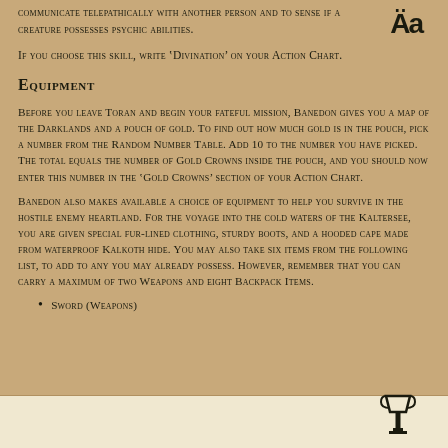communicate telepathically with another person and to sense if a creature possesses psychic abilities.
If you choose this skill, write 'Divination' on your Action Chart.
Equipment
Before you leave Toran and begin your fateful mission, Banedon gives you a map of the Darklands and a pouch of gold. To find out how much gold is in the pouch, pick a number from the Random Number Table. Add 10 to the number you have picked. The total equals the number of Gold Crowns inside the pouch, and you should now enter this number in the 'Gold Crowns' section of your Action Chart.
Banedon also makes available a choice of equipment to help you survive in the hostile enemy heartland. For the voyage into the cold waters of the Kaltersee, you are given special fur-lined clothing, sturdy boots, and a hooded cape made from waterproof Kalkoth hide. You may also take six items from the following list, to add to any you may already possess. However, remember that you can carry a maximum of two Weapons and eight Backpack Items.
Sword (Weapons)
[Figure (other): Bottom bar with light parchment background and a goblet/trophy icon on the right side]